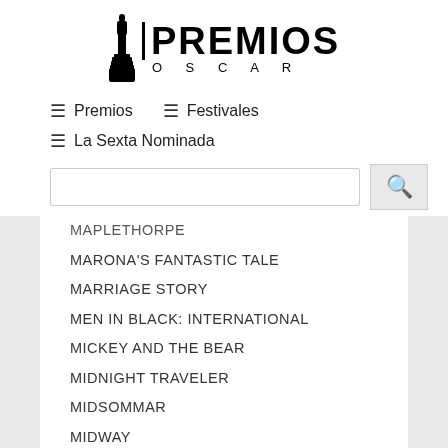[Figure (logo): Premios Oscar logo with Oscar statuette figure and 'PREMIOS' in bold with 'O S C A R' below]
≡ Premios
≡ Festivales
≡ La Sexta Nominada
MAPLETHORPE
MARONA'S FANTASTIC TALE
MARRIAGE STORY
MEN IN BLACK: INTERNATIONAL
MICKEY AND THE BEAR
MIDNIGHT TRAVELER
MIDSOMMAR
MIDWAY
A MILLION LITTLE PIECES
MISS BALA
MISSING LINK
MONOS